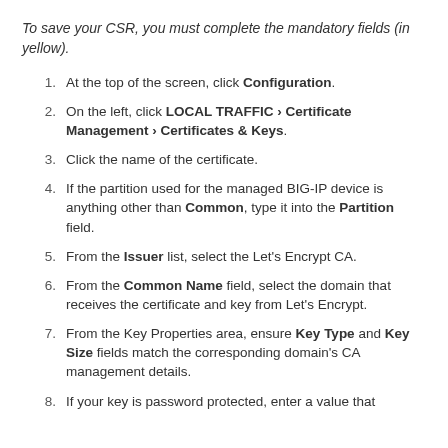To save your CSR, you must complete the mandatory fields (in yellow).
At the top of the screen, click Configuration.
On the left, click LOCAL TRAFFIC › Certificate Management › Certificates & Keys.
Click the name of the certificate.
If the partition used for the managed BIG-IP device is anything other than Common, type it into the Partition field.
From the Issuer list, select the Let's Encrypt CA.
From the Common Name field, select the domain that receives the certificate and key from Let's Encrypt.
From the Key Properties area, ensure Key Type and Key Size fields match the corresponding domain's CA management details.
If your key is password protected, enter a value that...